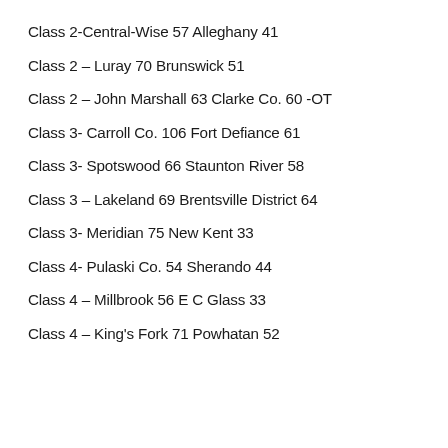Class 2-Central-Wise 57 Alleghany 41
Class 2 – Luray 70 Brunswick 51
Class 2 – John Marshall 63 Clarke Co. 60 -OT
Class 3- Carroll Co. 106 Fort Defiance 61
Class 3- Spotswood  66  Staunton River  58
Class 3 – Lakeland 69 Brentsville District 64
Class 3- Meridian 75 New Kent 33
Class 4-  Pulaski Co. 54 Sherando 44
Class 4 – Millbrook 56 E C Glass 33
Class 4 – King's Fork 71 Powhatan 52